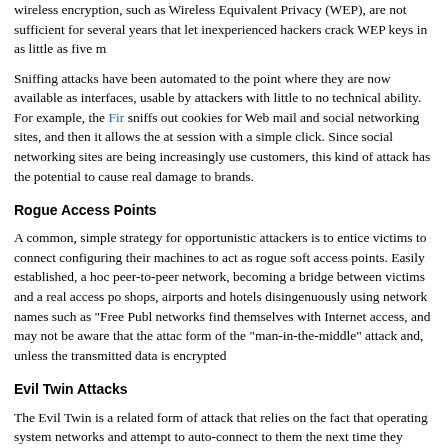wireless encryption, such as Wireless Equivalent Privacy (WEP), are not sufficient for several years that let inexperienced hackers crack WEP keys in as little as five m
Sniffing attacks have been automated to the point where they are now available as interfaces, usable by attackers with little to no technical ability. For example, the Fir sniffs out cookies for Web mail and social networking sites, and then it allows the at session with a simple click. Since social networking sites are being increasingly use customers, this kind of attack has the potential to cause real damage to brands.
Rogue Access Points
A common, simple strategy for opportunistic attackers is to entice victims to connect configuring their machines to act as rogue soft access points. Easily established, a hoc peer-to-peer network, becoming a bridge between victims and a real access po shops, airports and hotels disingenuously using network names such as "Free Publ networks find themselves with Internet access, and may not be aware that the attac form of the "man-in-the-middle" attack and, unless the transmitted data is encrypted
Evil Twin Attacks
The Evil Twin is a related form of attack that relies on the fact that operating system networks and attempt to auto-connect to them the next time they come into range. B identical network SSID (that's to say, the name of the open Wi-Fi network), an attac fool his victim's machines into connecting to his device instead of the legitimate hub access point to be taken offline, either physically or with a denial of service attack,